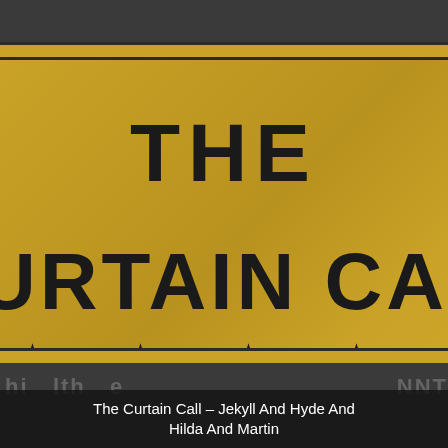[Figure (logo): The Curtain Call logo on a gold background with large bold text reading 'THE CURTAIN CALL' and a row of five stars below, bordered by dark horizontal bands top and bottom.]
The Curtain Call – Jekyll And Hyde And Hilda And Martin